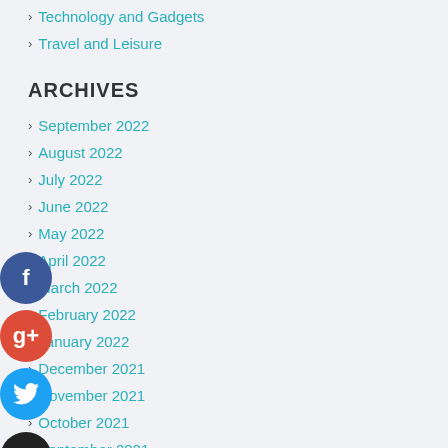Technology and Gadgets
Travel and Leisure
ARCHIVES
September 2022
August 2022
July 2022
June 2022
May 2022
April 2022
March 2022
February 2022
January 2022
December 2021
November 2021
October 2021
September 2021